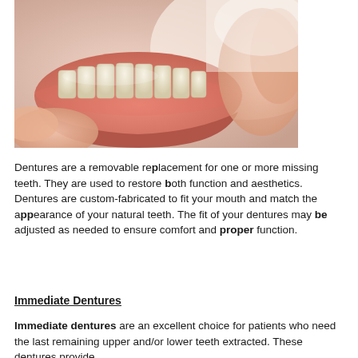[Figure (photo): Close-up photograph of a dental denture being held by human fingers, showing pink acrylic gum base and white artificial teeth.]
Dentures are a removable replacement for one or more missing teeth. They are used to restore both function and aesthetics. Dentures are custom-fabricated to fit your mouth and match the appearance of your natural teeth. The fit of your dentures may be adjusted as needed to ensure comfort and proper function.
Immediate Dentures
Immediate dentures are an excellent choice for patients who need the last remaining upper and/or lower teeth extracted. These dentures provide